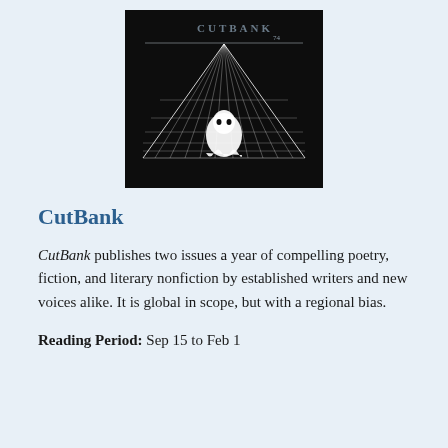[Figure (illustration): CutBank literary magazine cover issue 74 — black background with a white wireframe perspective grid forming a pyramid/triangle shape, with a white ghost-like figure at the center bottom, and 'CUTBANK 74' text at the top in light gray.]
CutBank
CutBank publishes two issues a year of compelling poetry, fiction, and literary nonfiction by established writers and new voices alike. It is global in scope, but with a regional bias.
Reading Period:  Sep 15 to Feb 1